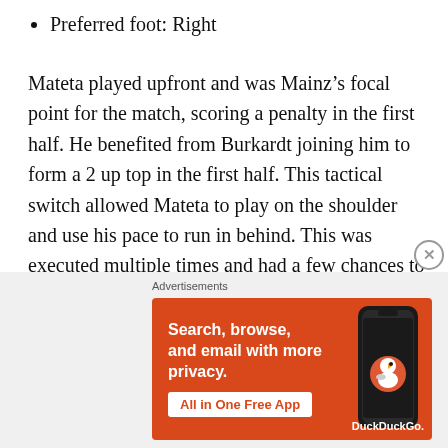Preferred foot: Right
Mateta played upfront and was Mainz’s focal point for the match, scoring a penalty in the first half. He benefited from Burkardt joining him to form a 2 up top in the first half. This tactical switch allowed Mateta to play on the shoulder and use his pace to run in behind. This was executed multiple times and had a few chances to score. He had on opportunity on his (weaker) left foot which he generated lots of power from, but went near post when the angle was tight (xG 0.08), when he would have been better going across goal. He won the penalty by running
[Figure (other): DuckDuckGo advertisement banner: orange background with white bold text 'Search, browse, and email with more privacy.' and a white button 'All in One Free App', with a phone graphic and DuckDuckGo branding on the right.]